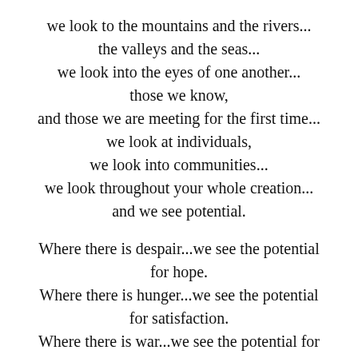we look to the mountains and the rivers...
the valleys and the seas...
we look into the eyes of one another...
those we know,
and those we are meeting for the first time...
we look at individuals,
we look into communities...
we look throughout your whole creation...
and we see potential.

Where there is despair...we see the potential for hope.
Where there is hunger...we see the potential for satisfaction.
Where there is war...we see the potential for